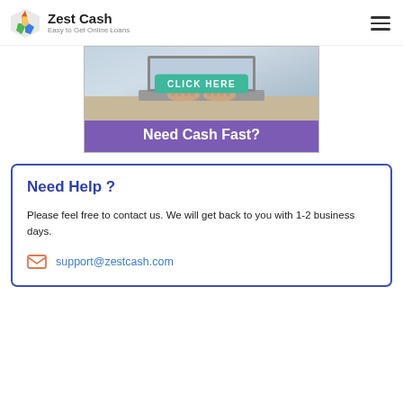Zest Cash — Easy to Get Online Loans
[Figure (photo): Advertisement banner showing hands on a laptop keyboard with a green 'CLICK HERE' button overlay and purple banner reading 'Need Cash Fast?']
Need Help ?
Please feel free to contact us. We will get back to you with 1-2 business days.
support@zestcash.com